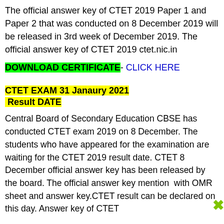The official answer key of CTET 2019 Paper 1 and Paper 2 that was conducted on 8 December 2019 will be released in 3rd week of December 2019. The official answer key of CTET 2019 ctet.nic.in
DOWNLOAD CERTIFICATE- CLICK HERE
CTET EXAM 31 Janaury 2021 Result DATE
Central Board of Secondary Education CBSE has conducted CTET exam 2019 on 8 December. The students who have appeared for the examination are waiting for the CTET 2019 result date. CTET 8 December official answer key has been released by the board. The official answer key mention  with OMR sheet and answer key.CTET result can be declared on this day. Answer key of CTET